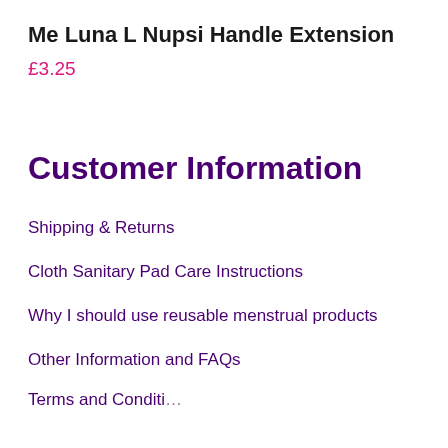Me Luna L Nupsi Handle Extension
£3.25
Customer Information
Shipping & Returns
Cloth Sanitary Pad Care Instructions
Why I should use reusable menstrual products
Other Information and FAQs
Terms and Conditions